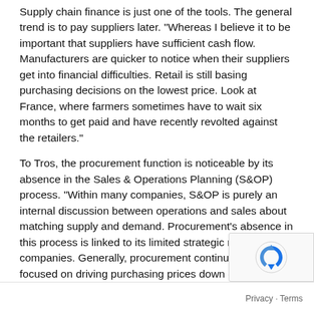Supply chain finance is just one of the tools. The general trend is to pay suppliers later. "Whereas I believe it to be important that suppliers have sufficient cash flow. Manufacturers are quicker to notice when their suppliers get into financial difficulties. Retail is still basing purchasing decisions on the lowest price. Look at France, where farmers sometimes have to wait six months to get paid and have recently revolted against the retailers."
To Tros, the procurement function is noticeable by its absence in the Sales & Operations Planning (S&OP) process. "Within many companies, S&OP is purely an internal discussion between operations and sales about matching supply and demand. Procurement's absence in this process is linked to its limited strategic role within companies. Generally, procurement continues to be focused on driving purchasing prices down or optimising a purchase-to-pay process, whereas that's not always what the overall business immediately needs." Tros advises procurement to approach category plans from the end customer's point of view, because then the rest of the company will sit up and listen. Procurement needs to seize supply chain risks as a reason to alter its behaviour, to focus more on creating value rather than merely achieving cost savings.
Download the KPMG report The Power of Procurement